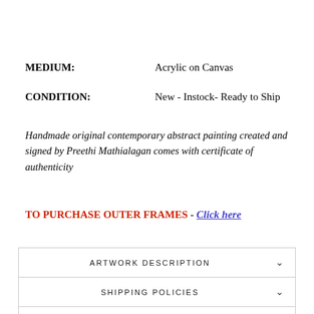MEDIUM: Acrylic on Canvas
CONDITION: New - Instock- Ready to Ship
Handmade original contemporary abstract painting created and signed by Preethi Mathialagan comes with certificate of authenticity
TO PURCHASE OUTER FRAMES - Click here
| ARTWORK DESCRIPTION | v |
| SHIPPING POLICIES | v |
| FAQ | v |
| ASK A QUESTION | v |